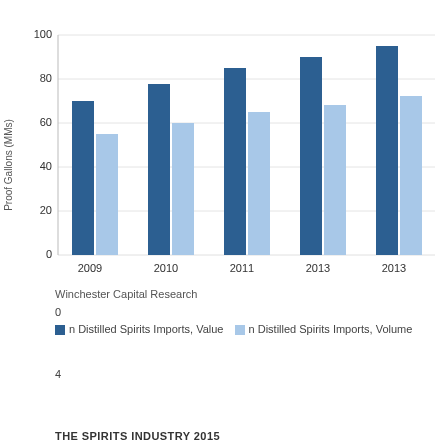[Figure (bar-chart): Distilled Spirits Imports: Value and Volume]
Winchester Capital Research
0
n Distilled Spirits Imports, Value n Distilled Spirits Imports, Volume
4
THE SPIRITS INDUSTRY 2015